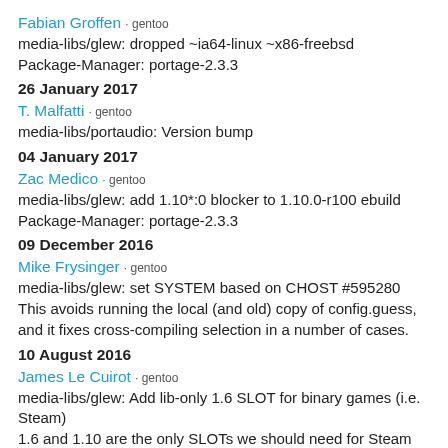Fabian Groffen · gentoo
media-libs/glew: dropped ~ia64-linux ~x86-freebsd
Package-Manager: portage-2.3.3
26 January 2017
T. Malfatti · gentoo
media-libs/portaudio: Version bump
04 January 2017
Zac Medico · gentoo
media-libs/glew: add 1.10*:0 blocker to 1.10.0-r100 ebuild
Package-Manager: portage-2.3.3
09 December 2016
Mike Frysinger · gentoo
media-libs/glew: set SYSTEM based on CHOST #595280
This avoids running the local (and old) copy of config.guess, and it fixes cross-compiling selection in a number of cases.
10 August 2016
James Le Cuirot · gentoo
media-libs/glew: Add lib-only 1.6 SLOT for binary games (i.e. Steam)
1.6 and 1.10 are the only SLOTs we should need for Steam for now as these are the versions included in the official Ubuntu-based runtime. Package-Manager: portage-2.3.0